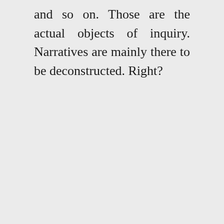and so on. Those are the actual objects of inquiry. Narratives are mainly there to be deconstructed. Right?